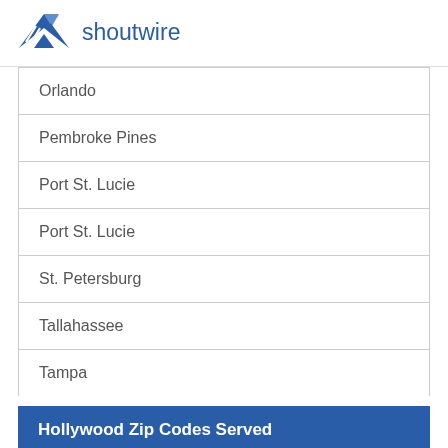[Figure (logo): Shoutwire logo with blue bird/wing icon and 'shoutwire' text in blue]
| Orlando |
| Pembroke Pines |
| Port St. Lucie |
| Port St. Lucie |
| St. Petersburg |
| Tallahassee |
| Tampa |
Hollywood Zip Codes Served
| 33019 | 33024 | 33029 |
| 33020 | 33025 | 33081 |